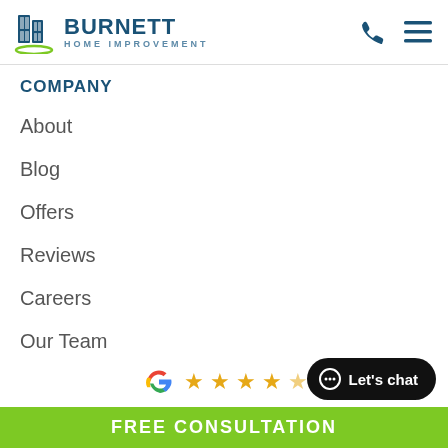[Figure (logo): Burnett Home Improvement logo with door/window icon, company name and tagline]
COMPANY
About
Blog
Offers
Reviews
Careers
Our Team
Past Projects
[Figure (logo): Google G logo with 4.5 stars rating]
FREE CONSULTATION
Let's chat